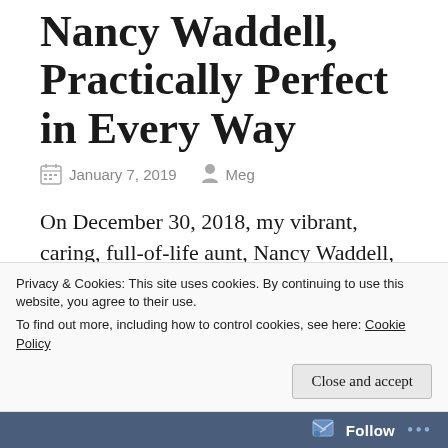Nancy Waddell, Practically Perfect in Every Way
January 7, 2019  Meg
On December 30, 2018, my vibrant, caring, full-of-life aunt, Nancy Waddell, died from complications of a heart attack.
Privacy & Cookies: This site uses cookies. By continuing to use this website, you agree to their use.
To find out more, including how to control cookies, see here: Cookie Policy
Close and accept
Follow